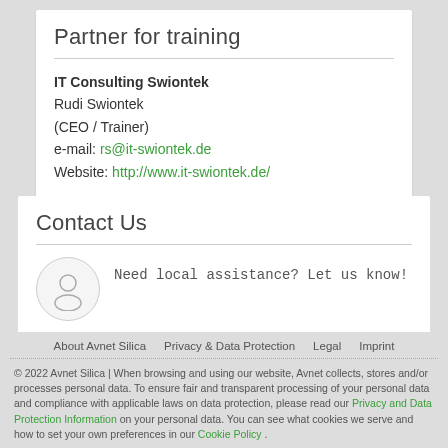Partner for training
IT Consulting Swiontek
Rudi Swiontek
(CEO / Trainer)
e-mail: rs@it-swiontek.de
Website: http://www.it-swiontek.de/
Contact Us
Need local assistance? Let us know!
Contact Us Now >
About Avnet Silica  Privacy & Data Protection  Legal  Imprint
© 2022 Avnet Silica | When browsing and using our website, Avnet collects, stores and/or processes personal data. To ensure fair and transparent processing of your personal data and compliance with applicable laws on data protection, please read our Privacy and Data Protection Information on your personal data. You can see what cookies we serve and how to set your own preferences in our Cookie Policy .